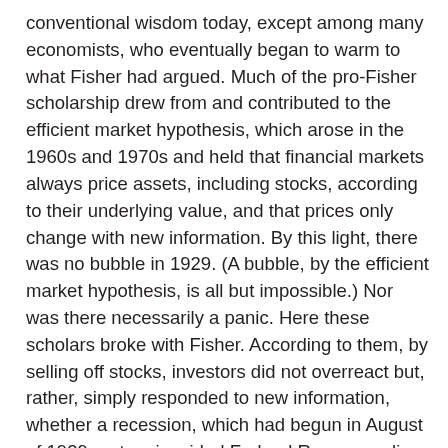conventional wisdom today, except among many economists, who eventually began to warm to what Fisher had argued. Much of the pro-Fisher scholarship drew from and contributed to the efficient market hypothesis, which arose in the 1960s and 1970s and held that financial markets always price assets, including stocks, according to their underlying value, and that prices only change with new information. By this light, there was no bubble in 1929. (A bubble, by the efficient market hypothesis, is all but impossible.) Nor was there necessarily a panic. Here these scholars broke with Fisher. According to them, by selling off stocks, investors did not overreact but, rather, simply responded to new information, whether a recession, which had begun in August of 1929, or to misguided Federal Reserve policy, which raised interest rates at precisely the wrong time.